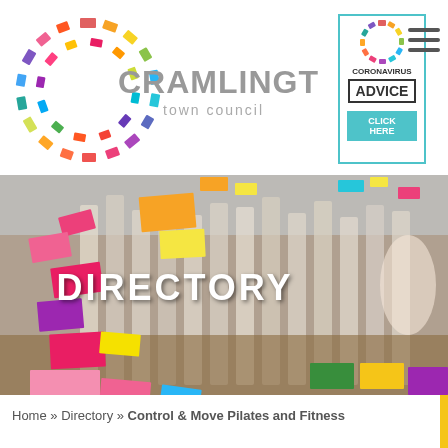[Figure (logo): Cramlington Town Council logo with colorful circular mosaic and grey text]
[Figure (infographic): Coronavirus Advice - Click Here box with teal border and teal button]
[Figure (photo): Directory banner image showing record files with colorful rectangular overlays and DIRECTORY text]
Home » Directory » Control & Move Pilates and Fitness